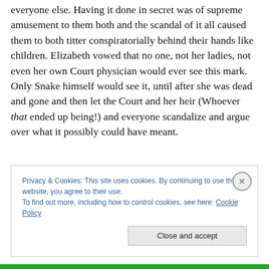everyone else. Having it done in secret was of supreme amusement to them both and the scandal of it all caused them to both titter conspiratorially behind their hands like children. Elizabeth vowed that no one, not her ladies, not even her own Court physician would ever see this mark. Only Snake himself would see it, until after she was dead and gone and then let the Court and her heir (Whoever that ended up being!) and everyone scandalize and argue over what it possibly could have meant.
Privacy & Cookies: This site uses cookies. By continuing to use this website, you agree to their use.
To find out more, including how to control cookies, see here: Cookie Policy